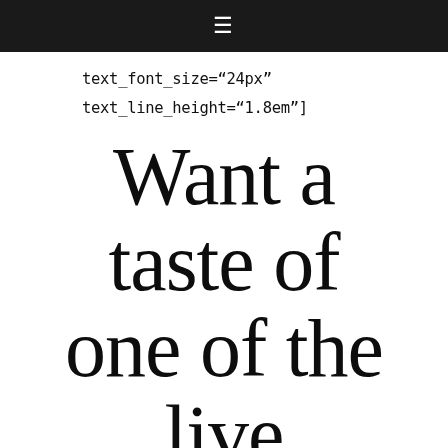≡
text_font_size="24px"
text_line_height="1.8em"]
Want a taste of one of the live sessions?